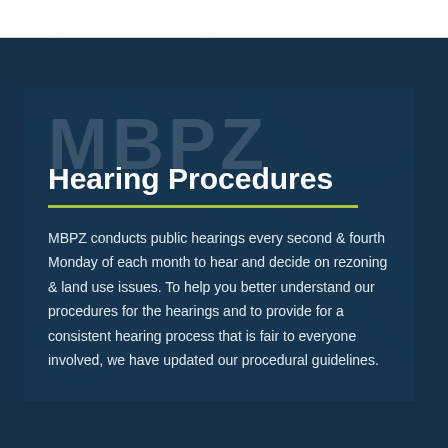Hearing Procedures
MBPZ conducts public hearings every second & fourth Monday of each month to hear and decide on rezoning & land use issues. To help you better understand our procedures for the hearings and to provide for a consistent hearing process that is fair to everyone involved, we have updated our procedural guidelines.